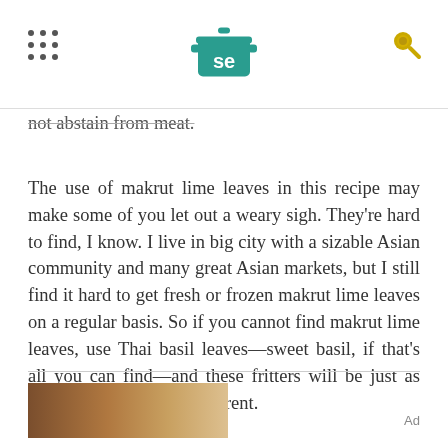se [Serious Eats logo]
…delicious appetizer/option for those of us who do not abstain from meat.
The use of makrut lime leaves in this recipe may make some of you let out a weary sigh. They're hard to find, I know. I live in big city with a sizable Asian community and many great Asian markets, but I still find it hard to get fresh or frozen makrut lime leaves on a regular basis. So if you cannot find makrut lime leaves, use Thai basil leaves—sweet basil, if that's all you can find—and these fritters will be just as great, though slightly different.
Ad